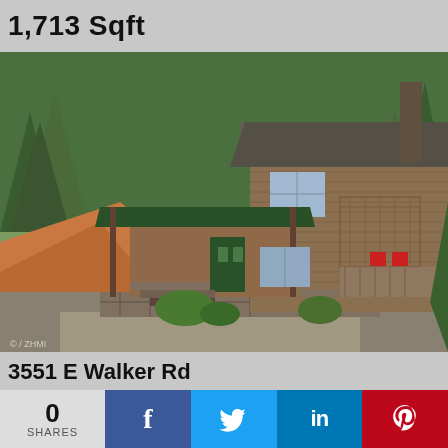1,713 Sqft
[Figure (photo): Exterior photo of a two-story brown wood cabin with green metal roof carport, deck, stairs, surrounded by pine trees and red-clay hillside in Prescott, Arizona]
3551 E Walker Rd
Prescott, Arizona 86303
Walker Prescott
0
SHARES